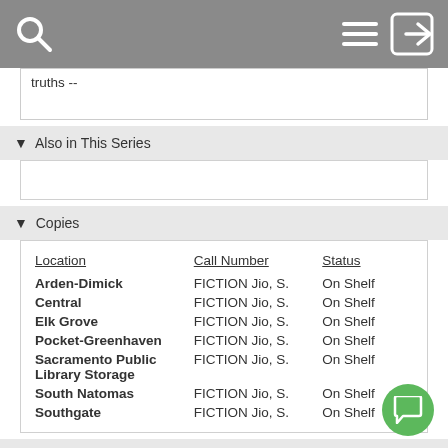Library catalog header with search, menu, and login icons
truths --
▼ Also in This Series
▼ Copies
| Location | Call Number | Status |
| --- | --- | --- |
| Arden-Dimick | FICTION Jio, S. | On Shelf |
| Central | FICTION Jio, S. | On Shelf |
| Elk Grove | FICTION Jio, S. | On Shelf |
| Pocket-Greenhaven | FICTION Jio, S. | On Shelf |
| Sacramento Public Library Storage | FICTION Jio, S. | On Shelf |
| South Natomas | FICTION Jio, S. | On Shelf |
| Southgate | FICTION Jio, S. | On Shelf |
▼ More Like This
[Figure (illustration): Green circular chat/comment bubble icon in bottom-right corner]